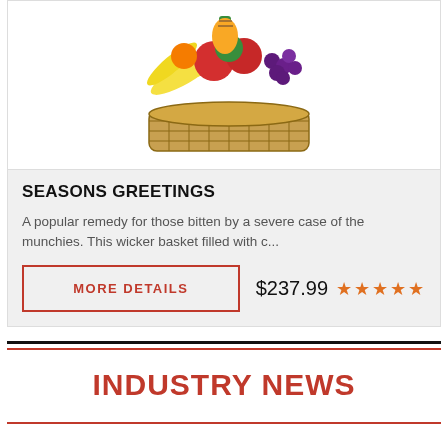[Figure (photo): Wicker fruit basket filled with bananas, apples, grapes, oranges, and other fruits, viewed from slightly above]
SEASONS GREETINGS
A popular remedy for those bitten by a severe case of the munchies. This wicker basket filled with c...
MORE DETAILS   $237.99  ★★★★★
INDUSTRY NEWS